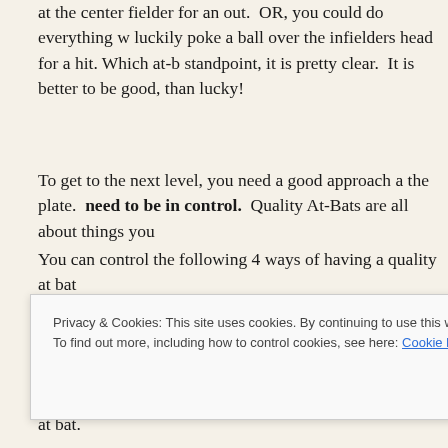at the center fielder for an out.  OR, you could do everything w luckily poke a ball over the infielders head for a hit. Which at-b standpoint, it is pretty clear.  It is better to be good, than lucky!
To get to the next level, you need a good approach a the plate. need to be in control.  Quality At-Bats are all about things you
You can control the following 4 ways of having a quality at bat
1. Hit the ball hard, off the sweet spot.  A hard ground ball, li outfielders head is hard hit. If you hit the ball hard, it is a qualit fielder makes a great play, or the ball is smoked right at him.  W  Any time you do that is a quality at bat.
Privacy & Cookies: This site uses cookies. By continuing to use this website, you agree to their use.
To find out more, including how to control cookies, see here: Cookie Policy